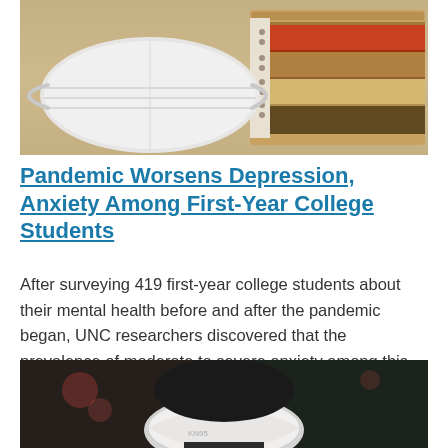[Figure (photo): A face mask resting on a stack of colorful spiral notebooks on a wooden surface]
Pandemic Worsens Depression, Anxiety Among First-Year College Students
After surveying 419 first-year college students about their mental health before and after the pandemic began, UNC researchers discovered that the prevalence of moderate to severe anxiety among this group increased by 40 percent, and moderate to severe depression increased by 48 percent.
[Figure (photo): Close-up of a person wearing a white N95 or similar face mask, outdoors with blurred background]